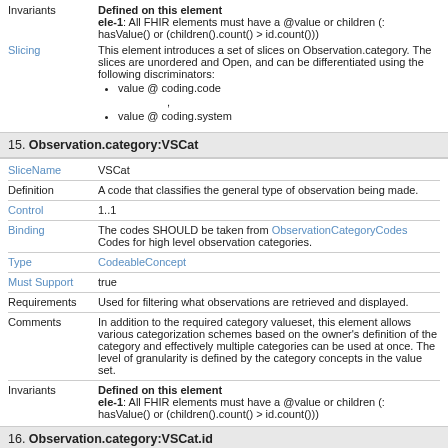Invariants   Defined on this element
ele-1: All FHIR elements must have a @value or children (: hasValue() or (children().count() > id.count()))
Slicing   This element introduces a set of slices on Observation.category. The slices are unordered and Open, and can be differentiated using the following discriminators:
• value @ coding.code
,
• value @ coding.system
15. Observation.category:VSCat
SliceName   VSCat
Definition   A code that classifies the general type of observation being made.
Control   1..1
Binding   The codes SHOULD be taken from ObservationCategoryCodes Codes for high level observation categories.
Type   CodeableConcept
Must Support   true
Requirements   Used for filtering what observations are retrieved and displayed.
Comments   In addition to the required category valueset, this element allows various categorization schemes based on the owner's definition of the category and effectively multiple categories can be used at once. The level of granularity is defined by the category concepts in the value set.
Invariants   Defined on this element
ele-1: All FHIR elements must have a @value or children (: hasValue() or (children().count() > id.count()))
16. Observation.category:VSCat.id